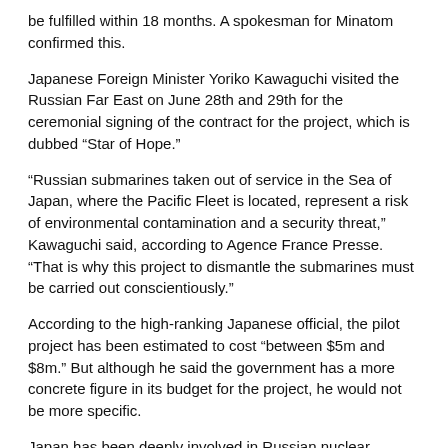be fulfilled within 18 months. A spokesman for Minatom confirmed this.
Japanese Foreign Minister Yoriko Kawaguchi visited the Russian Far East on June 28th and 29th for the ceremonial signing of the contract for the project, which is dubbed “Star of Hope.”
“Russian submarines taken out of service in the Sea of Japan, where the Pacific Fleet is located, represent a risk of environmental contamination and a security threat,” Kawaguchi said, according to Agence France Presse. “That is why this project to dismantle the submarines must be carried out conscientiously.”
According to the high-ranking Japanese official, the pilot project has been estimated to cost “between $5m and $8m.” But although he said the government has a more concrete figure in its budget for the project, he would not be more specific.
Japan has been deeply involved in Russian nuclear cleanup and disarmament projects. In 1993 Japan established the joint Japan-Russia Committee on Cooperation to Assist the Destruction of Nuclear Weapons Reduced in the Russian Federation, and pledged $200m to help Russia decontaminate its Soviet nuclear legacy.